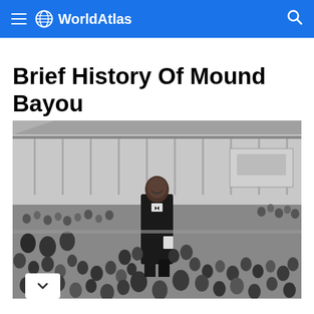WorldAtlas
Brief History Of Mound Bayou
[Figure (photo): Black and white historical photograph of a man in a dark suit standing elevated above a large crowd of people at an outdoor event, with a large building or grandstand visible in the background.]